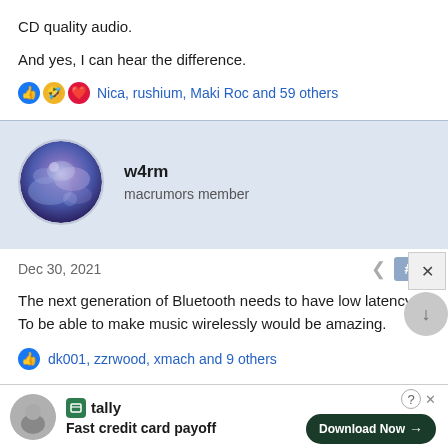CD quality audio.
And yes, I can hear the difference.
Nica, rushium, Maki Roc and 59 others
w4rm
macrumors member
Dec 30, 2021
#4
The next generation of Bluetooth needs to have low latency. To be able to make music wirelessly would be amazing.
dk001, zzrwood, xmach and 9 others
Fast credit card payoff